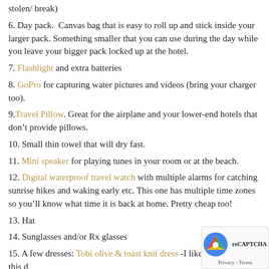stolen/ break)
6. Day pack.  Canvas bag that is easy to roll up and stick inside your larger pack. Something smaller that you can use during the day while you leave your bigger pack locked up at the hotel.
7. Flashlight and extra batteries
8. GoPro for capturing water pictures and videos (bring your charger too).
9.Travel Pillow. Great for the airplane and your lower-end hotels that don’t provide pillows.
10. Small thin towel that will dry fast.
11. Mini speaker for playing tunes in your room or at the beach.
12. Digital waterproof travel watch with multiple alarms for catching sunrise hikes and waking early etc. This one has multiple time zones so you’ll know what time it is back at home. Pretty cheap too!
13. Hat
14. Sunglasses and/or Rx glasses
15. A few dresses: Tobi olive & toast knit dress -I like this d... for the beach. It has a cute low back, but still modest enoug... for a cafe or Tobi Magdalena black shift dress – perfect for a